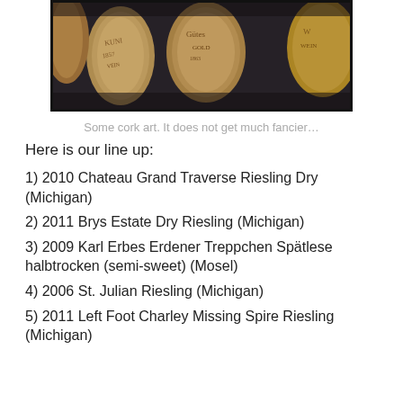[Figure (photo): Close-up photo of wine corks with printed labels, vintage sepia/warm toned filter applied. Multiple corks visible with text markings on them.]
Some cork art. It does not get much fancier…
Here is our line up:
1) 2010 Chateau Grand Traverse Riesling Dry (Michigan)
2) 2011 Brys Estate Dry Riesling (Michigan)
3) 2009 Karl Erbes Erdener Treppchen Spätlese halbtrocken (semi-sweet) (Mosel)
4) 2006 St. Julian Riesling (Michigan)
5) 2011 Left Foot Charley Missing Spire Riesling (Michigan)